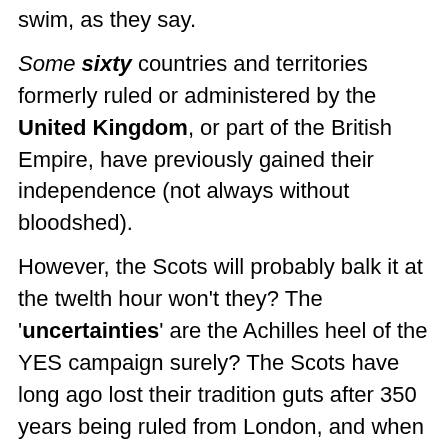swim, as they say.
Some sixty countries and territories formerly ruled or administered by the United Kingdom, or part of the British Empire, have previously gained their independence (not always without bloodshed).
However, the Scots will probably balk it at the twelth hour won't they? The 'uncertainties' are the Achilles heel of the YES campaign surely? The Scots have long ago lost their tradition guts after 350 years being ruled from London, and when ultimately massacred at the Inverness battle of Culloden two hundred and fifty years ago. Many of the still 'undecided' voters have been frightened silly and 'put-down' as incapable of running their country, by the anglised Scots fighting the English corner. Instead of thinking of voting for their 'freedom', they will be voting for 'will they be better off'.